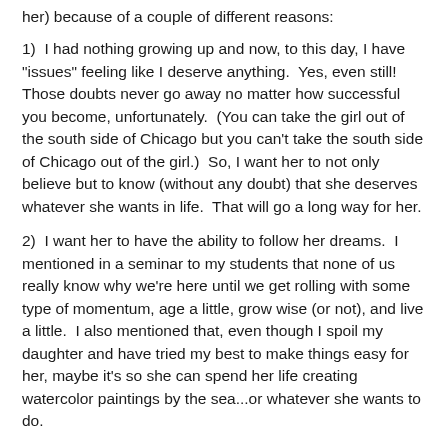her) because of a couple of different reasons:
1)  I had nothing growing up and now, to this day, I have "issues" feeling like I deserve anything.  Yes, even still!  Those doubts never go away no matter how successful you become, unfortunately.  (You can take the girl out of the south side of Chicago but you can't take the south side of Chicago out of the girl.)  So, I want her to not only believe but to know (without any doubt) that she deserves whatever she wants in life.  That will go a long way for her.
2)  I want her to have the ability to follow her dreams.  I mentioned in a seminar to my students that none of us really know why we're here until we get rolling with some type of momentum, age a little, grow wise (or not), and live a little.  I also mentioned that, even though I spoil my daughter and have tried my best to make things easy for her, maybe it's so she can spend her life creating watercolor paintings by the sea...or whatever she wants to do.
Little did I know that I truly had a little artist on my hands.
I have this beautiful little spirit that decided to come to me when I